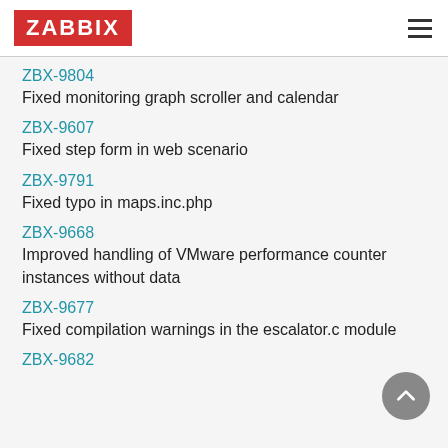[Figure (logo): Zabbix logo: red rectangle with white bold text ZABBIX, and hamburger menu icon on the right]
ZBX-9804
Fixed monitoring graph scroller and calendar
ZBX-9607
Fixed step form in web scenario
ZBX-9791
Fixed typo in maps.inc.php
ZBX-9668
Improved handling of VMware performance counter instances without data
ZBX-9677
Fixed compilation warnings in the escalator.c module
ZBX-9682
Fixed...